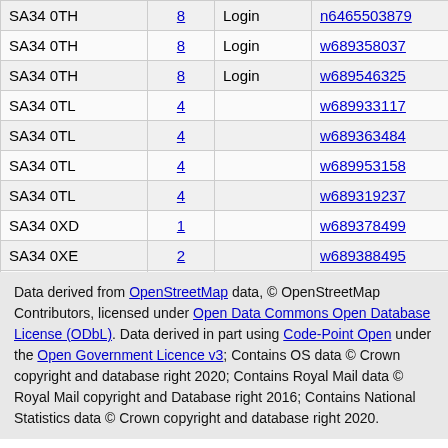| SA34 0TH | 8 | Login | n6465503879 |
| SA34 0TH | 8 | Login | w689358037 |
| SA34 0TH | 8 | Login | w689546325 |
| SA34 0TL | 4 |  | w689933117 |
| SA34 0TL | 4 |  | w689363484 |
| SA34 0TL | 4 |  | w689953158 |
| SA34 0TL | 4 |  | w689319237 |
| SA34 0XD | 1 |  | w689378499 |
| SA34 0XE | 2 |  | w689388495 |
| SA34 0XE | 2 |  | w689388221 |
Data derived from OpenStreetMap data, © OpenStreetMap Contributors, licensed under Open Data Commons Open Database License (ODbL). Data derived in part using Code-Point Open under the Open Government Licence v3; Contains OS data © Crown copyright and database right 2020; Contains Royal Mail data © Royal Mail copyright and Database right 2016; Contains National Statistics data © Crown copyright and database right 2020.